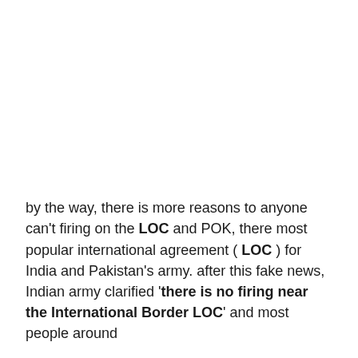by the way, there is more reasons to anyone can't firing on the LOC and POK, there most popular international agreement ( LOC ) for India and Pakistan's army. after this fake news, Indian army clarified 'there is no firing near the International Border LOC' and most people around